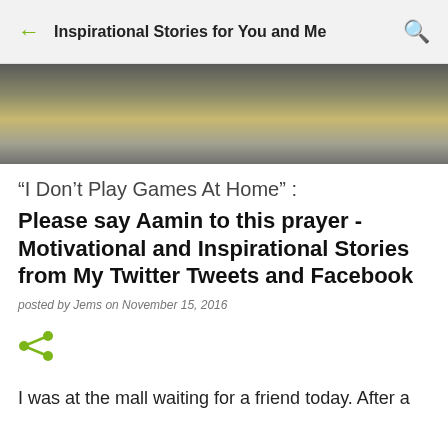Inspirational Stories for You and Me
[Figure (photo): Blurred hero image with warm tones, possibly an outdoor or mall scene]
"I Don't Play Games At Home" :
Please say Aamin to this prayer - Motivational and Inspirational Stories from My Twitter Tweets and Facebook
posted by Jems on November 15, 2016
[Figure (infographic): Share icon (three connected dots)]
I was at the mall waiting for a friend today. After a